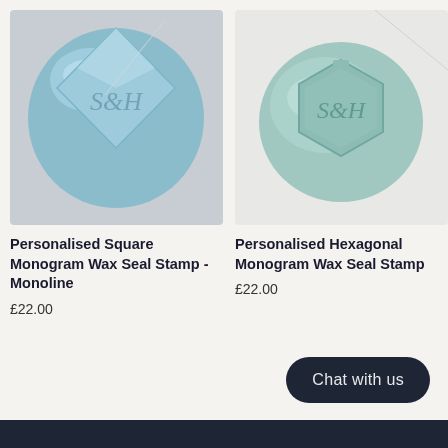[Figure (photo): Blue/teal pearl wax seal in a square/diamond shape with monogram S&H on a grey background]
Personalised Square Monogram Wax Seal Stamp - Monoline
£22.00
[Figure (photo): Blue/teal wax seal in a hexagonal shape with monogram S&H on a white envelope background]
Personalised Hexagonal Monogram Wax Seal Stamp
£22.00
Chat with us